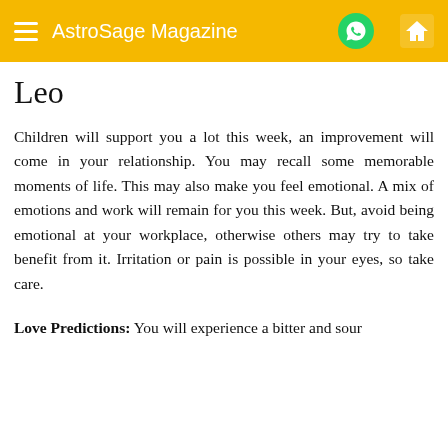AstroSage Magazine
Leo
Children will support you a lot this week, an improvement will come in your relationship. You may recall some memorable moments of life. This may also make you feel emotional. A mix of emotions and work will remain for you this week. But, avoid being emotional at your workplace, otherwise others may try to take benefit from it. Irritation or pain is possible in your eyes, so take care.
Love Predictions: You will experience a bitter and sour